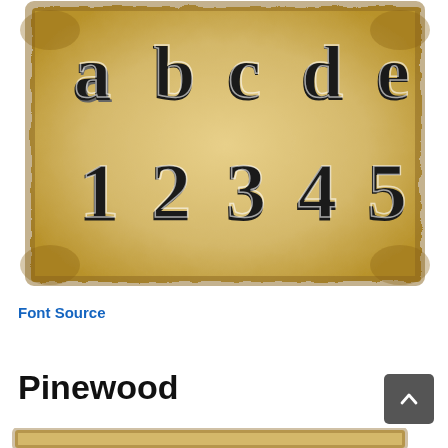[Figure (illustration): Aged parchment paper background showing decorative old-west style letters a, b, c, d, e on top row and numbers 1, 2, 3, 4, 5 on bottom row, rendered in black with white highlight shadow effect on a tan/brown distressed paper texture.]
Font Source
Pinewood
[Figure (illustration): Bottom edge of another aged parchment paper showing similar decorative lettering, partially cropped.]